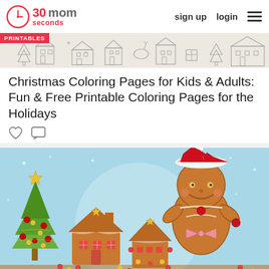30seconds mom  sign up  login
[Figure (illustration): Decorative banner with Christmas coloring page line art: buildings, Christmas trees, snowflakes, and holiday scenes in black and white sketch style with a red PRINTABLES badge]
Christmas Coloring Pages for Kids & Adults: Fun & Free Printable Coloring Pages for the Holidays
[Figure (illustration): Colorful Christmas illustration with a gingerbread man wearing a Santa hat and pink bow tie, standing in front of a gingerbread village scene with a decorated Christmas tree and a light blue snowy background with a large moon circle]